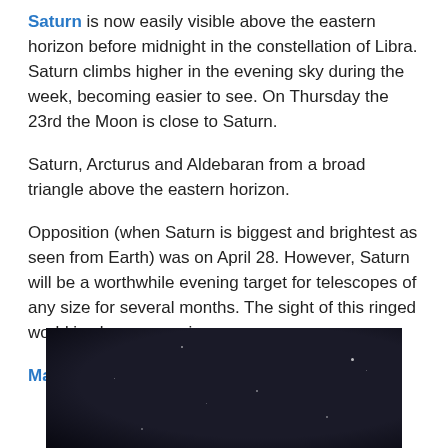Saturn is now easily visible above the eastern horizon before midnight in the constellation of Libra. Saturn climbs higher in the evening sky during the week, becoming easier to see. On Thursday the 23rd the Moon is close to Saturn.
Saturn, Arcturus and Aldebaran from a broad triangle above the eastern horizon.
Opposition (when Saturn is biggest and brightest as seen from Earth) was on April 28. However, Saturn will be a worthwhile evening target for telescopes of any size for several months. The sight of this ringed world is always amazing.
Mars is lost in the twilight.
[Figure (photo): Dark night sky photograph, nearly black with a few faint star-like points of light visible]